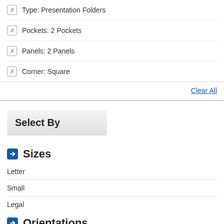Type: Presentation Folders
Pockets: 2 Pockets
Panels: 2 Panels
Corner: Square
Clear All
Select By
Sizes
Letter
Small
Legal
Orientations
Portrait
Landscape
Extras